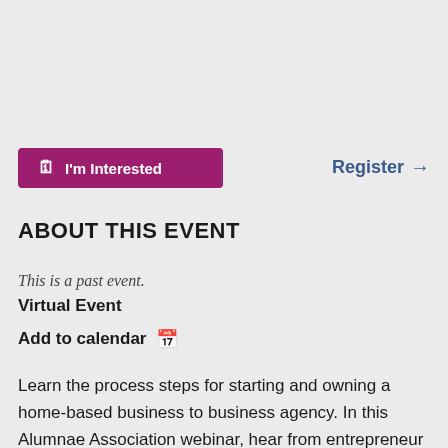I'm Interested
Register →
ABOUT THIS EVENT
This is a past event.
Virtual Event
Add to calendar 🗓
Learn the process steps for starting and owning a home-based business to business agency. In this Alumnae Association webinar, hear from entrepreneur Elizabeth Paulson '83, who raised a